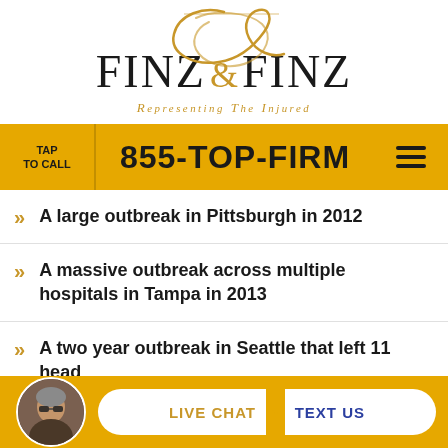[Figure (logo): Finz & Finz law firm logo with golden script overlay and serif text. Tagline: Representing The Injured]
TAP TO CALL  855-TOP-FIRM
A large outbreak in Pittsburgh in 2012
A massive outbreak across multiple hospitals in Tampa in 2013
A two year outbreak in Seattle that left 11 head
[Figure (photo): Circular avatar photo of a man wearing sunglasses]
LIVE CHAT  TEXT US